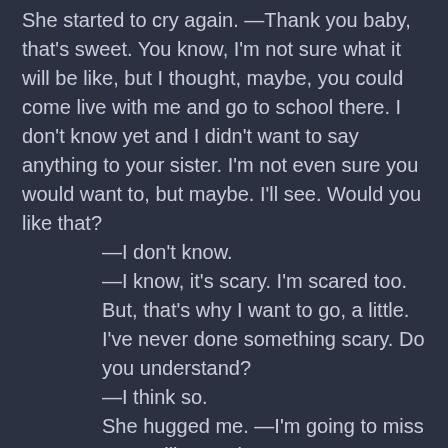She started to cry again. —Thank you baby, that's sweet. You know, I'm not sure what it will be like, but I thought, maybe, you could come live with me and go to school there. I don't know yet and I didn't want to say anything to your sister. I'm not even sure you would want to, but maybe. I'll see. Would you like that?
—I don't know.
—I know, it's scary. I'm scared too. But, that's why I want to go, a little. I've never done something scary. Do you understand?
—I think so.
She hugged me. —I'm going to miss you. Will you miss me?
My eyes started tearing up. I wiped them. —Yes.
—Will you write me letters? I'll be lonely down there